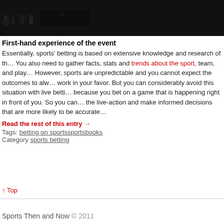[Figure (photo): Black and white silhouette photo banner of people/crowd at a sports event]
First-hand experience of the event
Essentially, sports' betting is based on extensive knowledge and research of th… You also need to gather facts, stats and trends about the sport, team, and play… However, sports are unpredictable and you cannot expect the outcomes to alw… work in your favor. But you can considerably avoid this situation with live betti… because you bet on a game that is happening right in front of you. So you can… the live-action and make informed decisions that are more likely to be accurate…
Read the rest of this entry →
Tags: betting on sportssportsbooks
Category sports betting
↑ Top
Sports Then and Now © 2011